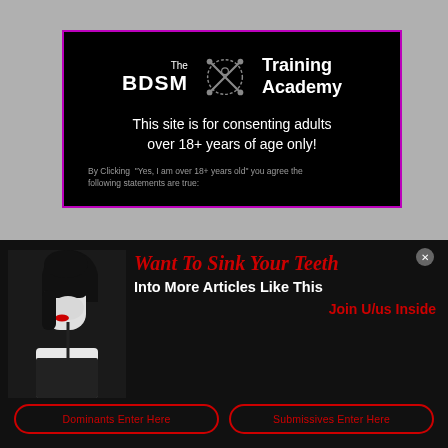[Figure (logo): BDSM Training Academy logo with crossed paddles/crop icon, white text on black background]
This site is for consenting adults over 18+ years of age only!
By Clicking "Yes, I am over 18+ years old" you agree the following statements are true:
[Figure (photo): Black and white photo of a woman with short dark hair and red lips in profile]
Want To Sink Your Teeth
Into More Articles Like This
Join U/us Inside
Dominants Enter Here
Submissives Enter Here